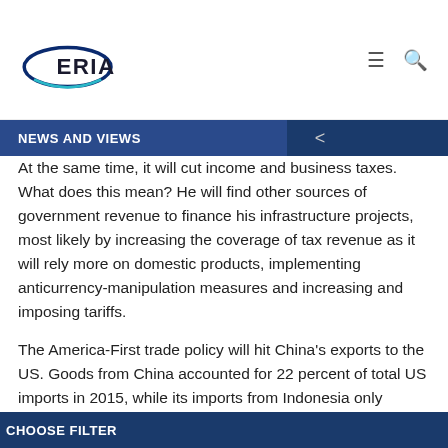[Figure (logo): ERIA logo with swoosh/oval graphic]
NEWS AND VIEWS
At the same time, it will cut income and business taxes. What does this mean? He will find other sources of government revenue to finance his infrastructure projects, most likely by increasing the coverage of tax revenue as it will rely more on domestic products, implementing anticurrency-manipulation measures and increasing and imposing tariffs.
The America-First trade policy will hit China's exports to the US. Goods from China accounted for 22 percent of total US imports in 2015, while its imports from Indonesia only accounted for 0.89 percent in the same year.
CHOOSE FILTER